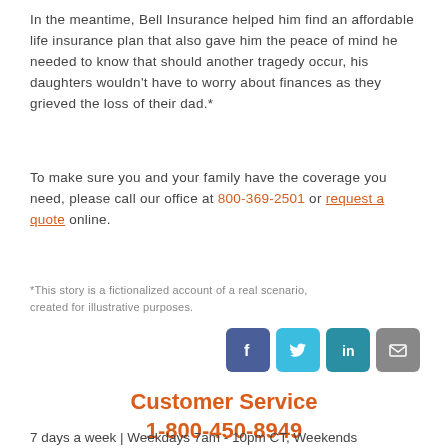In the meantime, Bell Insurance helped him find an affordable life insurance plan that also gave him the peace of mind he needed to know that should another tragedy occur, his daughters wouldn't have to worry about finances as they grieved the loss of their dad.*
To make sure you and your family have the coverage you need, please call our office at 800-369-2501 or request a quote online.
*This story is a fictionalized account of a real scenario, created for illustrative purposes.
[Figure (infographic): Social media icons: Facebook, Twitter, LinkedIn, Email]
Customer Service
1-800-450-8949
7 days a week | Weekdays 7am - 10pm CT, Weekends